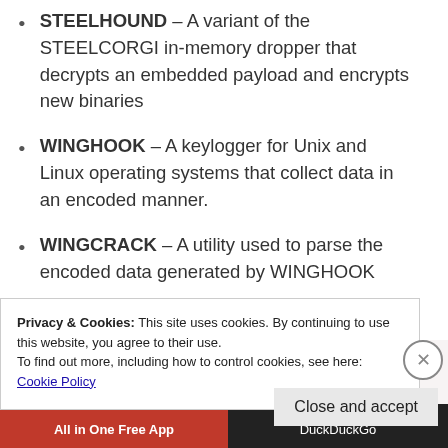STEELHOUND – A variant of the STEELCORGI in-memory dropper that decrypts an embedded payload and encrypts new binaries
WINGHOOK – A keylogger for Unix and Linux operating systems that collect data in an encoded manner.
WINGCRACK – A utility used to parse the encoded data generated by WINGHOOK
WIPERIGHT – On Linux and Unix-based
Privacy & Cookies: This site uses cookies. By continuing to use this website, you agree to their use. To find out more, including how to control cookies, see here: Cookie Policy
Close and accept
All in One Free App   DuckDuckGo